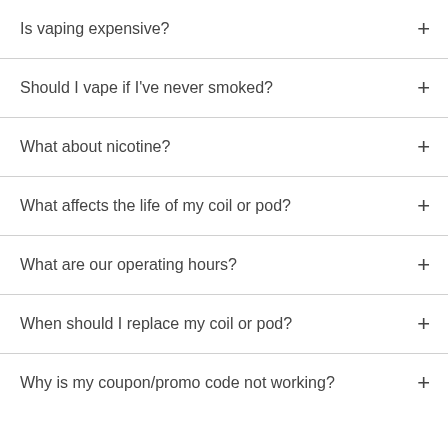Is vaping expensive?
Should I vape if I've never smoked?
What about nicotine?
What affects the life of my coil or pod?
What are our operating hours?
When should I replace my coil or pod?
Why is my coupon/promo code not working?